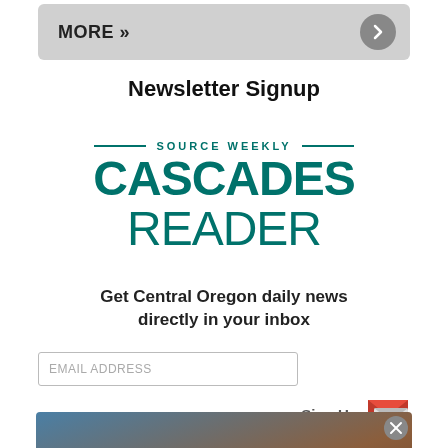MORE »
Newsletter Signup
[Figure (logo): Source Weekly Cascades Reader newsletter logo with teal text and horizontal lines flanking 'SOURCE WEEKLY']
Get Central Oregon daily news directly in your inbox
EMAIL ADDRESS
Sign Up
[Figure (photo): Advertisement banner for Robert Plant and Alison Krauss concert on August 25 at Hayden Homes Amphitheater, with warm sunset/landscape background]